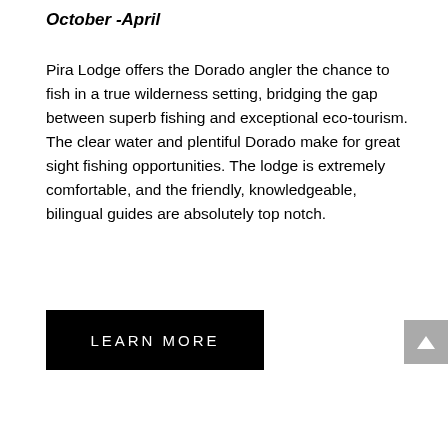October -April
Pira Lodge offers the Dorado angler the chance to fish in a true wilderness setting, bridging the gap between superb fishing and exceptional eco-tourism.  The clear water and plentiful Dorado make for great sight fishing opportunities. The lodge is extremely comfortable, and the friendly, knowledgeable, bilingual guides are absolutely top notch.
[Figure (other): Black rectangular button with white uppercase text reading LEARN MORE]
[Figure (other): Gray square scroll-to-top button with white upward arrow]